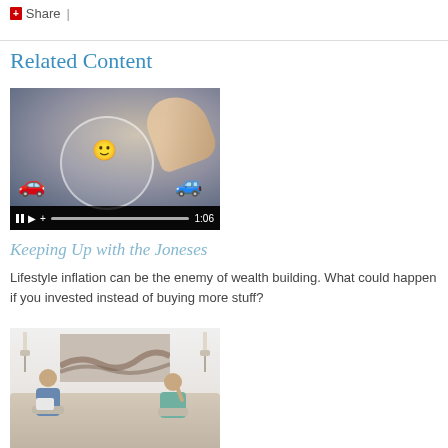Share |
Related Content
[Figure (screenshot): Video thumbnail showing a hand swiping on a tablet with car game icons and emoji, video duration 1:06]
Keeping Up with the Joneses
Lifestyle inflation can be the enemy of wealth building. What could happen if you invested instead of buying more stuff?
[Figure (photo): Photo of a couple sitting on a sofa in a living room, one looking at a laptop and the other with hand on head]